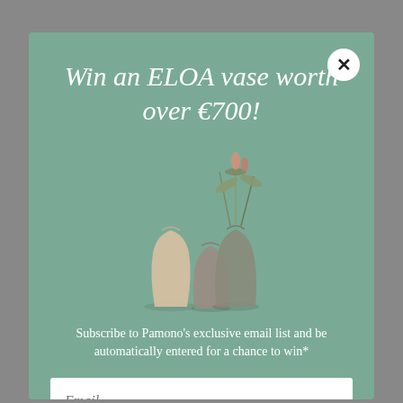Win an ELOA vase worth over €700!
[Figure (illustration): Three decorative ELOA glass vases of varying sizes and shapes with dried plant stems arranged in them, displayed on a muted teal/green background.]
Subscribe to Pamono's exclusive email list and be automatically entered for a chance to win*
Email
Enter the Giveaway